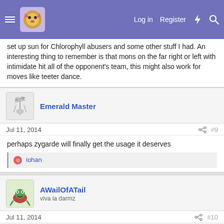Log in  Register
set up sun for Chlorophyll abusers and some other stuff I had. An interesting thing to remember is that mons on the far right or left with intimidate hit all of the opponent's team, this might also work for moves like teeter dance.
Emerald Master
Jul 11, 2014  #9
perhaps zygarde will finally get the usage it deserves
iohan
AWailOfATail
viva la darmz
Jul 11, 2014  #10